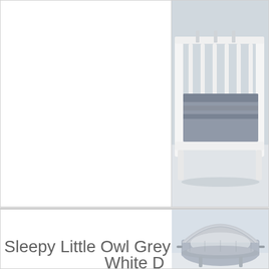[Figure (photo): Product listing card showing a white wooden baby crib/cot with grey bedding, photographed from the side. Right portion of the image is visible, cut off on the right edge.]
£75.9
Sleepy Little Owl Grey Wid
White D
[Figure (photo): Product listing card showing a grey wicker Moses basket / bassinet with a white hood and grey fabric lining, photographed in a light setting.]